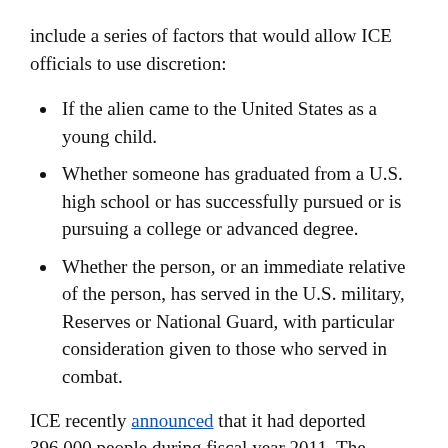include a series of factors that would allow ICE officials to use discretion:
If the alien came to the United States as a young child.
Whether someone has graduated from a U.S. high school or has successfully pursued or is pursuing a college or advanced degree.
Whether the person, or an immediate relative of the person, has served in the U.S. military, Reserves or National Guard, with particular consideration given to those who served in combat.
ICE recently announced that it had deported 396,000 people during fiscal year 2011. The agency's own numbers indicate that, “of these, nearly 55 percent or